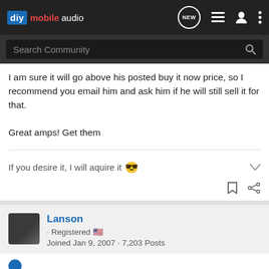diy mobile audio
I am sure it will go above his posted buy it now price, so I recommend you email him and ask him if he will still sell it for that.

Great amps! Get them
If you desire it, I will aquire it 😎
Lanson · Registered 🇺🇸
Joined Jan 9, 2007 · 7,203 Posts